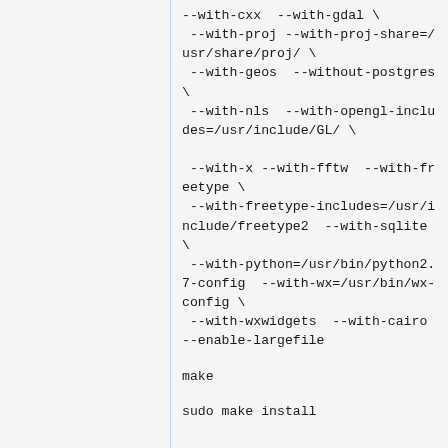--with-cxx  --with-gdal \
 --with-proj --with-proj-share=/usr/share/proj/ \
 --with-geos  --without-postgres \
 --with-nls  --with-opengl-includes=/usr/include/GL/ \

 --with-x --with-fftw  --with-freetype \
 --with-freetype-includes=/usr/include/freetype2  --with-sqlite \
 --with-python=/usr/bin/python2.7-config  --with-wx=/usr/bin/wx-config \
 --with-wxwidgets  --with-cairo  --enable-largefile
make
sudo make install